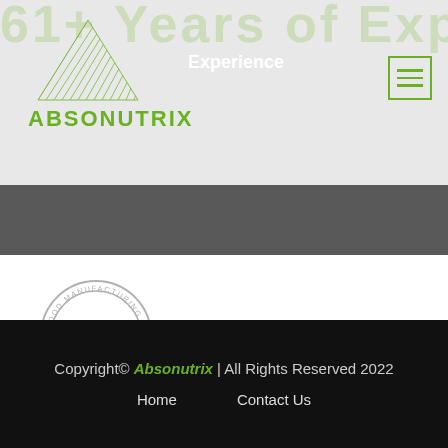61+ Years of Experience
[Figure (logo): Absonutrix logo with green triangle and green text ABSONUTRIX]
Experience
[Figure (other): Hamburger menu icon with green border and three green lines]
[Figure (other): GMP - Good Manufacturing Practice circular stamp/seal in light gray]
Copyright© Absonutrix | All Rights Reserved 2022
Home    Contact Us